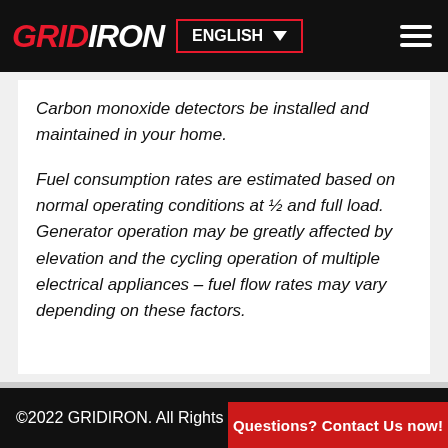GRIDIRON | ENGLISH
Carbon monoxide detectors be installed and maintained in your home.
Fuel consumption rates are estimated based on normal operating conditions at ½ and full load. Generator operation may be greatly affected by elevation and the cycling operation of multiple electrical appliances – fuel flow rates may vary depending on these factors.
©2022 GRIDIRON. All Rights Reserved.
Questions? Contact Us now!